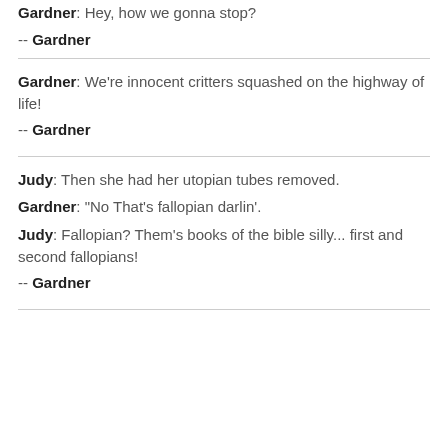Gardner: Hey, how we gonna stop?
-- Gardner
Gardner: We're innocent critters squashed on the highway of life!
-- Gardner
Judy: Then she had her utopian tubes removed. Gardner: "No That's fallopian darlin'. Judy: Fallopian? Them's books of the bible silly... first and second fallopians!
-- Gardner